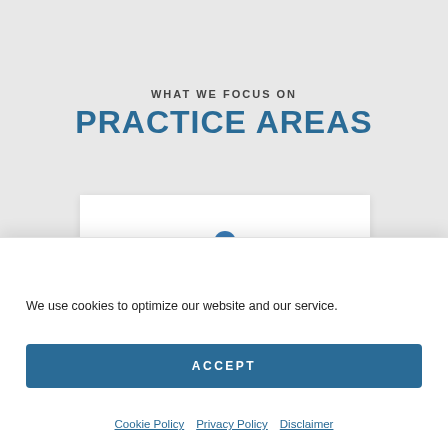WHAT WE FOCUS ON
PRACTICE AREAS
[Figure (illustration): Icon of a person with an arch/semicircle above, rendered in steel blue, representing a legal or personal services practice area]
We use cookies to optimize our website and our service.
ACCEPT
Cookie Policy  Privacy Policy  Disclaimer